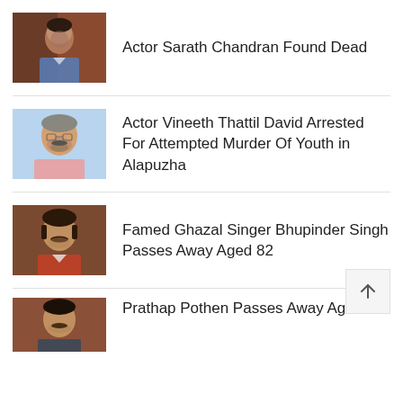Actor Sarath Chandran Found Dead
Actor Vineeth Thattil David Arrested For Attempted Murder Of Youth in Alapuzha
Famed Ghazal Singer Bhupinder Singh Passes Away Aged 82
Prathap Pothen Passes Away Aged 69